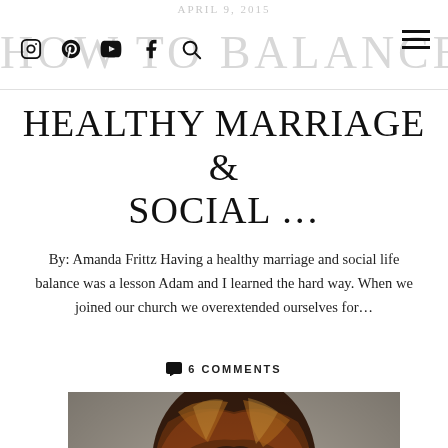APRIL 9, 2015
HOW TO BALANCE A HEALTHY MARRIAGE & SOCIAL ...
By: Amanda Frittz Having a healthy marriage and social life balance was a lesson Adam and I learned the hard way. When we joined our church we overextended ourselves for...
💬 6 COMMENTS
[Figure (photo): Close-up photo of a woman with highlighted wavy brown hair, wearing a grey top and dark jacket]